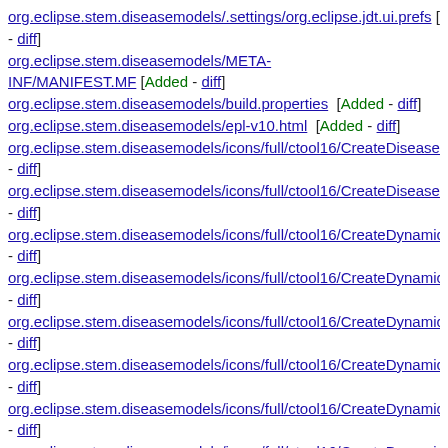org.eclipse.stem.diseasemodels/.settings/org.eclipse.jdt.ui.prefs [A- - diff]
org.eclipse.stem.diseasemodels/META-INF/MANIFEST.MF [Added - diff]
org.eclipse.stem.diseasemodels/build.properties [Added - diff]
org.eclipse.stem.diseasemodels/epl-v10.html [Added - diff]
org.eclipse.stem.diseasemodels/icons/full/ctool16/CreateDiseaseM... - diff]
org.eclipse.stem.diseasemodels/icons/full/ctool16/CreateDiseaseN... - diff]
org.eclipse.stem.diseasemodels/icons/full/ctool16/CreateDynamic... - diff]
org.eclipse.stem.diseasemodels/icons/full/ctool16/CreateDynamic... - diff]
org.eclipse.stem.diseasemodels/icons/full/ctool16/CreateDynamic... - diff]
org.eclipse.stem.diseasemodels/icons/full/ctool16/CreateDynamic... - diff]
org.eclipse.stem.diseasemodels/icons/full/ctool16/CreateDynamic... - diff]
org.eclipse.stem.diseasemodels/icons/full/ctool16/CreateDynamic...